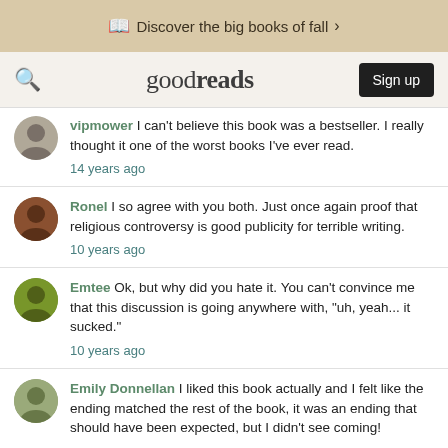Discover the big books of fall >
goodreads  Sign up
vipmower I can't believe this book was a bestseller. I really thought it one of the worst books I've ever read.
14 years ago
Ronel I so agree with you both. Just once again proof that religious controversy is good publicity for terrible writing.
10 years ago
Emtee Ok, but why did you hate it. You can't convince me that this discussion is going anywhere with, "uh, yeah... it sucked."
10 years ago
Emily Donnellan I liked this book actually and I felt like the ending matched the rest of the book, it was an ending that should have been expected, but I didn't see coming!